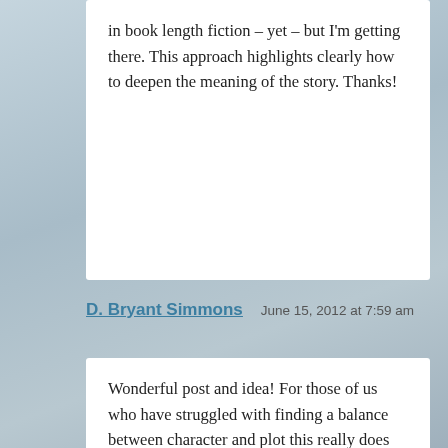in book length fiction – yet – but I'm getting there. This approach highlights clearly how to deepen the meaning of the story. Thanks!
D. Bryant Simmons
June 15, 2012 at 7:59 am
Wonderful post and idea! For those of us who have struggled with finding a balance between character and plot this really does bring them together in a way that empowers the story and it happens to be realistic. The King's Speech was the perfect example. It also seems like some stories build up a specific fear in the audience that